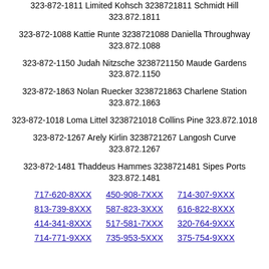323-872-1811 Limited Kohsch 3238721811 Schmidt Hill 323.872.1811
323-872-1088 Kattie Runte 3238721088 Daniella Throughway 323.872.1088
323-872-1150 Judah Nitzsche 3238721150 Maude Gardens 323.872.1150
323-872-1863 Nolan Ruecker 3238721863 Charlene Station 323.872.1863
323-872-1018 Loma Littel 3238721018 Collins Pine 323.872.1018
323-872-1267 Arely Kirlin 3238721267 Langosh Curve 323.872.1267
323-872-1481 Thaddeus Hammes 3238721481 Sipes Ports 323.872.1481
717-620-8XXX   450-908-7XXX   714-307-9XXX
813-739-8XXX   587-823-3XXX   616-822-8XXX
414-341-8XXX   517-581-7XXX   320-764-9XXX
714-771-9XXX   735-953-5XXX   375-754-9XXX